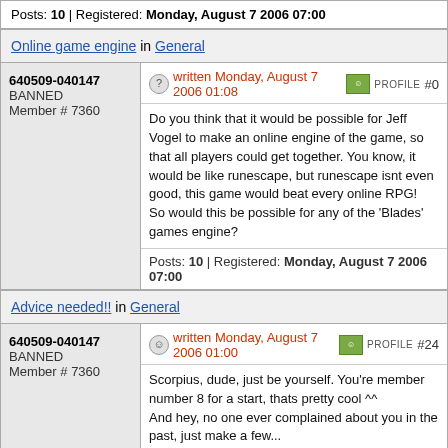Posts: 10 | Registered: Monday, August 7 2006 07:00
Online game engine in General
640509-040147
BANNED
Member # 7360
written Monday, August 7 2006 01:08  PROFILE  #0
Do you think that it would be possible for Jeff Vogel to make an online engine of the game, so that all players could get together. You know, it would be like runescape, but runescape isnt even good, this game would beat every online RPG!
So would this be possible for any of the 'Blades' games engine?
Posts: 10 | Registered: Monday, August 7 2006 07:00
Advice needed!! in General
640509-040147
BANNED
Member # 7360
written Monday, August 7 2006 01:00  PROFILE  #24
Scorpius, dude, just be yourself. You're member number 8 for a start, thats pretty cool ^^
And hey, no one ever complained about you in the past, just make a few...